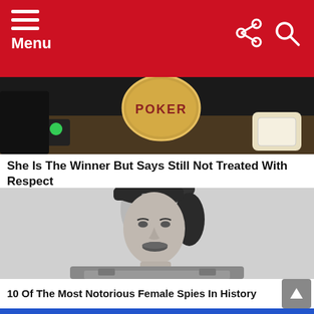Menu
[Figure (photo): A poker table scene with chips and a Poker sign visible at the top, colorful background.]
She Is The Winner But Says Still Not Treated With Respect
[Figure (photo): Black and white portrait photo of a woman in military uniform wearing a garrison cap with insignia, smiling.]
10 Of The Most Notorious Female Spies In History